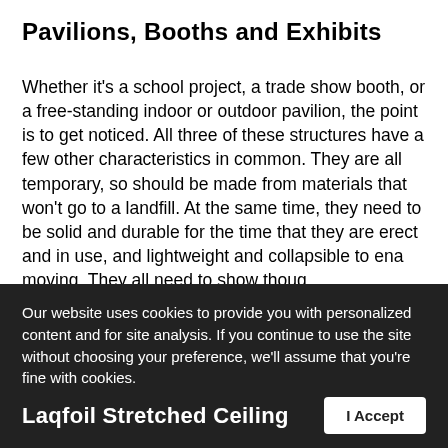Pavilions, Booths and Exhibits
Whether it’s a school project, a trade show booth, or a free-standing indoor or outdoor pavilion, the point is to get noticed. All three of these structures have a few other characteristics in common. They are all temporary, so should be made from materials that won’t go to a landfill. At the same time, they need to be solid and durable for the time that they are erect and in use, and lightweight and collapsible to ena... moving. They all need to show thoug... detail and present a “put together” image. They all occupy a specific and generally small amount of floor
[Figure (other): WhatsApp icon button with tooltip label 'WhatsApp' on dark background, overlaid on the main text area in the bottom-right corner]
Our website uses cookies to provide you with personalized content and for site analysis. If you continue to use the site without choosing your preference, we’ll assume that you’re fine with cookies.
Laqfoil Stretched Ceiling
I Accept